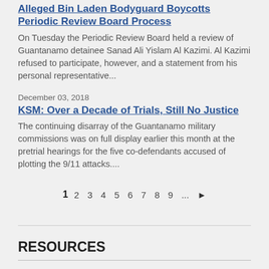Alleged Bin Laden Bodyguard Boycotts Periodic Review Board Process
On Tuesday the Periodic Review Board held a review of Guantanamo detainee Sanad Ali Yislam Al Kazimi. Al Kazimi refused to participate, however, and a statement from his personal representative...
December 03, 2018
KSM: Over a Decade of Trials, Still No Justice
The continuing disarray of the Guantanamo military commissions was on full display earlier this month at the pretrial hearings for the five co-defendants accused of plotting the 9/11 attacks....
1 2 3 4 5 6 7 8 9 ... ▶
RESOURCES